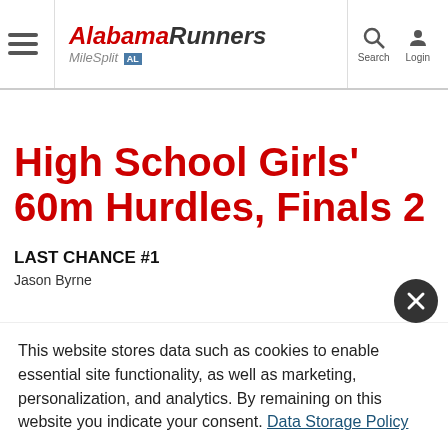AlabamaRunners MileSplit AL | Search | Login
High School Girls' 60m Hurdles, Finals 2
LAST CHANCE #1
Jason Byrne
This website stores data such as cookies to enable essential site functionality, as well as marketing, personalization, and analytics. By remaining on this website you indicate your consent. Data Storage Policy